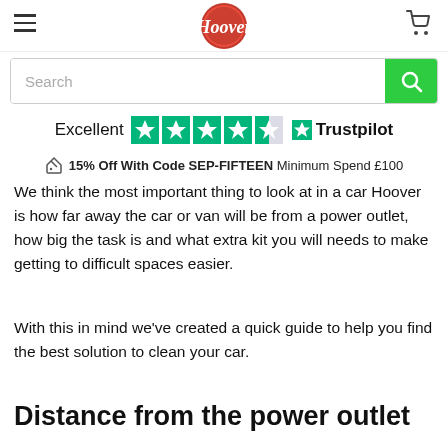Hoover website navigation header with hamburger menu, Hoover logo, and cart icon
[Figure (logo): Hoover brand logo — red circle with white Hoover script lettering]
Search
Excellent ★★★★½ Trustpilot
15% Off With Code SEP-FIFTEEN Minimum Spend £100
We think the most important thing to look at in a car Hoover is how far away the car or van will be from a power outlet, how big the task is and what extra kit you will needs to make getting to difficult spaces easier.
With this in mind we've created a quick guide to help you find the best solution to clean your car.
Distance from the power outlet